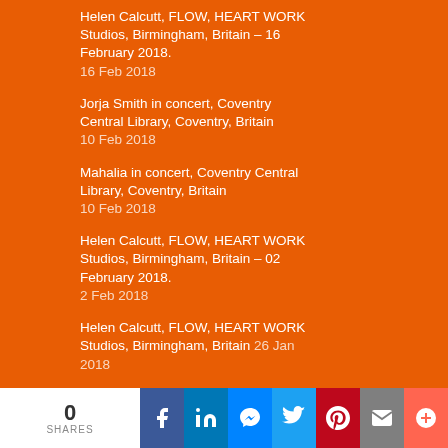Helen Calcutt, FLOW, HEART WORK Studios, Birmingham, Britain – 16 February 2018. 16 Feb 2018
Jorja Smith in concert, Coventry Central Library, Coventry, Britain 10 Feb 2018
Mahalia in concert, Coventry Central Library, Coventry, Britain 10 Feb 2018
Helen Calcutt, FLOW, HEART WORK Studios, Birmingham, Britain – 02 February 2018. 2 Feb 2018
Helen Calcutt, FLOW, HEART WORK Studios, Birmingham, Britain 26 Jan 2018
Omar-S in concert, The Hare And Hounds, Birmingham, Britain 2 Dec 2017
Jesca Hoop in concert, The Hare and Hounds, Birmingham, Britain 27 Nov 2017
Lucas Oswald in concert, The Hare and Hounds, Birmingham, Britain 27 Nov 2017
The Horrors in concert, O2 Academy, Birmingham, Britain 24
0 SHARES | Facebook | LinkedIn | Messenger | Twitter | Pinterest | Mail | +